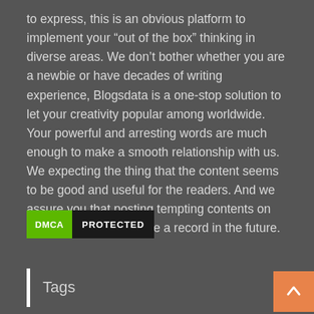to express, this is an obvious platform to implement your “out of the box” thinking in diverse areas. We don’t bother whether you are a newbie or have decades of writing experience, Blogsdata is a one-stop solution to let your creativity popular among worldwide. Your powerful and arresting words are much enough to make a smooth relationship with us. We expecting the thing that the content seems to be good and useful for the readers. And we assure you that posting tempting contents on our site will let you make a record in the future.
[Figure (other): DMCA Protected badge with green DMCA label and black PROTECTED label]
Tags